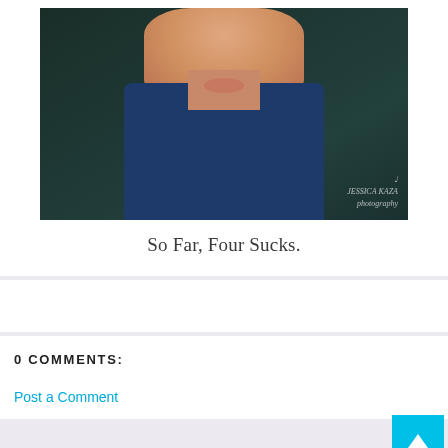[Figure (photo): Close-up photo of a young child's face and upper body against a dark teal/green background, wearing a dark blue shirt. A photographer's watermark 'Jessica Kaza Photography' is visible in the lower right corner.]
So Far, Four Sucks.
0 COMMENTS:
Post a Comment